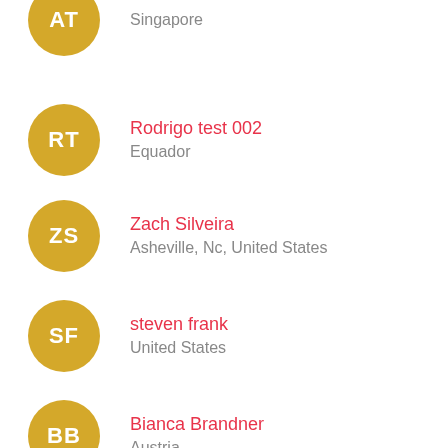AT / Singapore
Rodrigo test 002 / Equador
Zach Silveira / Asheville, Nc, United States
steven frank / United States
Bianca Brandner / Austria
Rasmus Vidø / Denmark